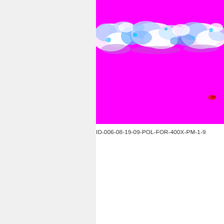[Figure (photo): Microscopy image at 400X polarized light showing a layered sample. The image is predominantly magenta/pink with a band of white, blue, and cyan crystalline or fibrous material running horizontally across the upper portion. A small red artifact is visible in the lower right area of the image.]
ID-006-08-19-09-POL-FOR-400X-PM-1-9